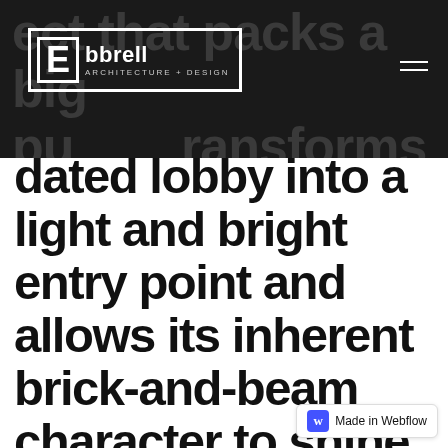Ebbrell Architecture + Design
dated lobby into a light and bright entry point and allows its inherent brick-and-beam character to shine.
Ebbrell Architecture + Design was brought in to help the owner of a newly-acquired downtown office building reposition the lobby to a more modern and attractive entry point to this historic 7-story structure. The transformation resulted in both modern the building along with allowing its historic brick and beam character